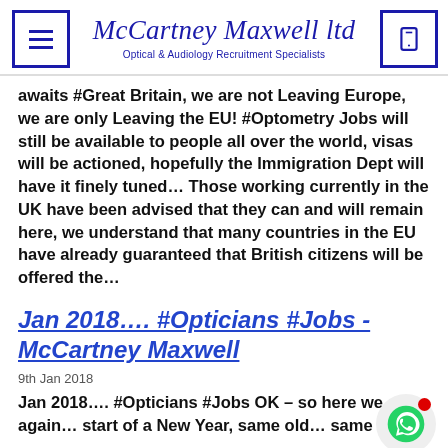McCartney Maxwell ltd — Optical & Audiology Recruitment Specialists
awaits #Great Britain, we are not Leaving Europe, we are only Leaving the EU! #Optometry Jobs will still be available to people all over the world, visas will be actioned, hopefully the Immigration Dept will have it finely tuned… Those working currently in the UK have been advised that they can and will remain here, we understand that many countries in the EU have already guaranteed that British citizens will be offered the…
Jan 2018…. #Opticians #Jobs - McCartney Maxwell
9th Jan 2018
Jan 2018…. #Opticians #Jobs OK – so here we are again… start of a New Year, same old… same old?!